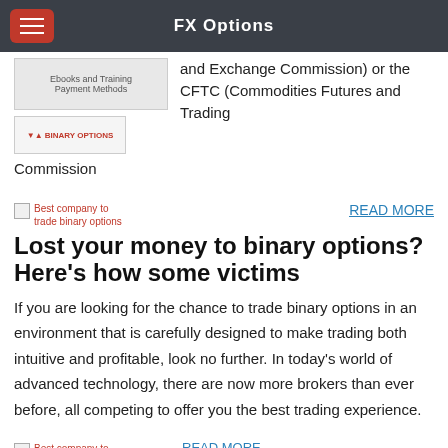FX Options
[Figure (screenshot): Screenshot showing Ebooks and Training Payment Methods image placeholder]
[Figure (logo): Binary Options logo placeholder]
and Exchange Commission) or the CFTC (Commodities Futures and Trading Commission
[Figure (photo): Best company to trade binary options image placeholder]
READ MORE
Lost your money to binary options? Here’s how some victims
If you are looking for the chance to trade binary options in an environment that is carefully designed to make trading both intuitive and profitable, look no further. In today’s world of advanced technology, there are now more brokers than ever before, all competing to offer you the best trading experience.
[Figure (photo): Best company to trade binary options image placeholder]
READ MORE
HOW TO TRADE BINARY